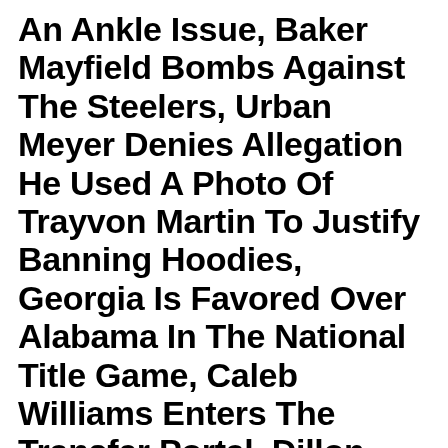An Ankle Issue, Baker Mayfield Bombs Against The Steelers, Urban Meyer Denies Allegation He Used A Photo Of Trayvon Martin To Justify Banning Hoodies, Georgia Is Favored Over Alabama In The National Title Game, Caleb Williams Enters The Transfer Portal, Dillon Gabriel Transfers To Oklahoma, Wisconsin Stuns Purdue And 'Yellowstone' Fans Want To Know When Season 5 Will Start